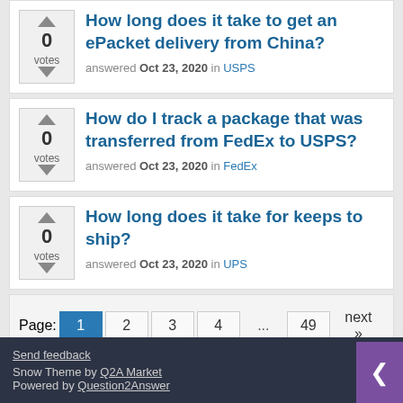How long does it take to get an ePacket delivery from China? answered Oct 23, 2020 in USPS
How do I track a package that was transferred from FedEx to USPS? answered Oct 23, 2020 in FedEx
How long does it take for keeps to ship? answered Oct 23, 2020 in UPS
Page: 1 2 3 4 ... 49 next »
Send feedback
Snow Theme by Q2A Market
Powered by Question2Answer